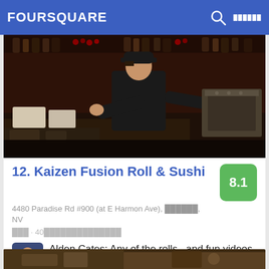FOURSQUARE
[Figure (photo): Restaurant kitchen photo showing a chef in black uniform working at a sushi bar with equipment and bottles in background]
12. Kaizen Fusion Roll & Sushi
4480 Paradise Rd #900 (at E Harmon Ave), ██████, NV
███ · 40██████████████
Alden Cates: Any of the rolls...and fun videos on the projector
[Figure (photo): Partial view of another restaurant venue photo at the bottom of the page]